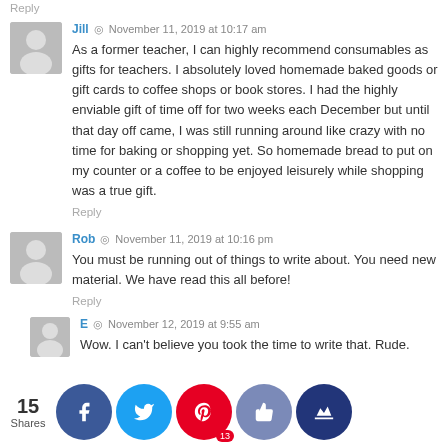Reply
Jill · November 11, 2019 at 10:17 am
As a former teacher, I can highly recommend consumables as gifts for teachers. I absolutely loved homemade baked goods or gift cards to coffee shops or book stores. I had the highly enviable gift of time off for two weeks each December but until that day off came, I was still running around like crazy with no time for baking or shopping yet. So homemade bread to put on my counter or a coffee to be enjoyed leisurely while shopping was a true gift.
Reply
Rob · November 11, 2019 at 10:16 pm
You must be running out of things to write about. You need new material. We have read this all before!
Reply
E · November 12, 2019 at 9:55 am
Wow. I can't believe you took the time to write that. Rude.